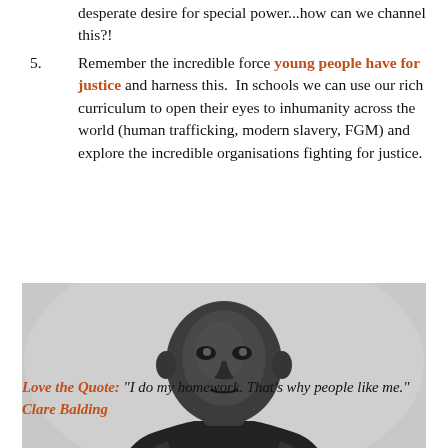desperate desire for special power...how can we channel this?!
5. Remember the incredible force young people have for justice and harness this. In schools we can use our rich curriculum to open their eyes to inhumanity across the world (human trafficking, modern slavery, FGM) and explore the incredible organisations fighting for justice.
[Figure (photo): Black and white photo of a male athlete in a black sleeveless top, looking directly at camera, hands in front in a pointing gesture]
Love the Quote: "I do my homework. That's why people like me." Clare Balding